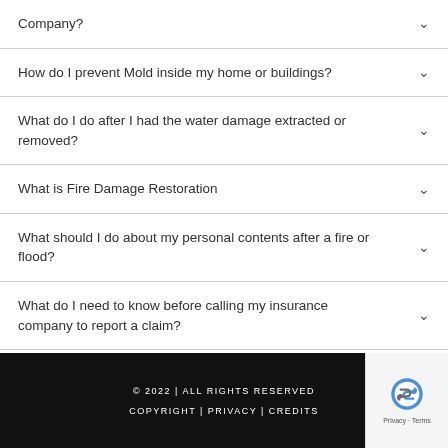Company?
How do I prevent Mold inside my home or buildings?
What do I do after I had the water damage extracted or removed?
What is Fire Damage Restoration
What should I do about my personal contents after a fire or flood?
What do I need to know before calling my insurance company to report a claim?
© 2022 | ALL RIGHTS RESERVED
COPYRIGHT | PRIVACY | CREDITS